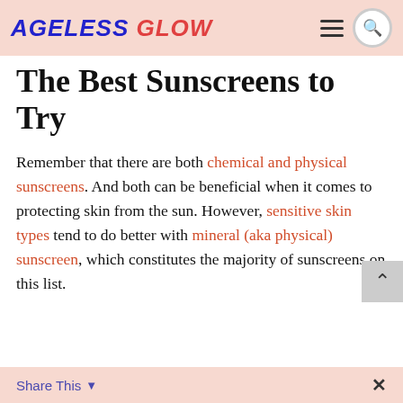AGELESS GLOW
The Best Sunscreens to Try
Remember that there are both chemical and physical sunscreens. And both can be beneficial when it comes to protecting skin from the sun. However, sensitive skin types tend to do better with mineral (aka physical) sunscreen, which constitutes the majority of sunscreens on this list.
Share This